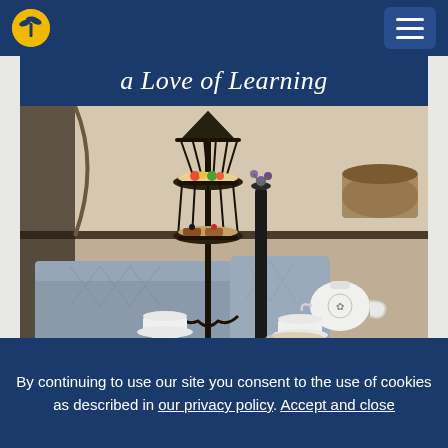Navigation bar with logo and hamburger menu
a Love of Learning
[Figure (photo): Afternoon tea setting with a decorative black metal tiered cake stand holding pastries and fruit, set on a table with white teacups, saucers, a teapot, and diamond-patterned cushions in a warm-toned lounge setting.]
By continuing to use our site you consent to the use of cookies as described in our privacy policy. Accept and close